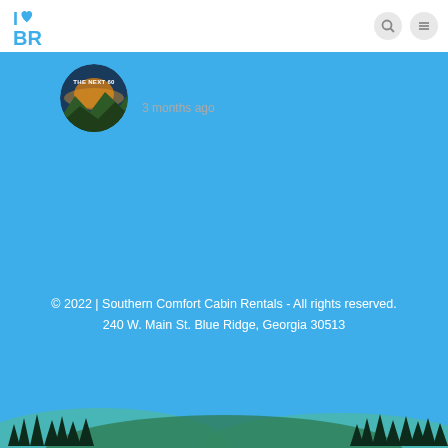I Love BR logo with search and menu icons
[Figure (illustration): Circular thumbnail image for 'The Next 60' post showing mountain landscape with sunset]
THE NEXT 60
3 months ago
© 2022 | Southern Comfort Cabin Rentals - All rights reserved.
240 W. Main St. Blue Ridge, Georgia 30513
[Figure (illustration): Blue sky background with mountain silhouette and pine tree landscape at bottom]